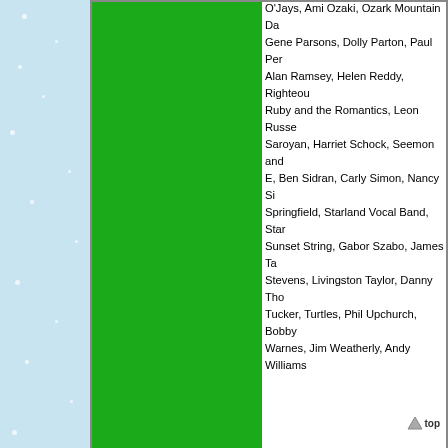O'Jays, Ami Ozaki, Ozark Mountain Daredevils, Gene Parsons, Dolly Parton, Paul Pena, Alan Ramsey, Helen Reddy, Righteous Brothers, Ruby and the Romantics, Leon Russell, Aram Saroyan, Harriet Schock, Seemon and Margo E, Ben Sidran, Carly Simon, Nancy Sinatra, Springfield, Starland Vocal Band, Starr, Sunset String, Gabor Szabo, James Taylor Stevens, Livingston Taylor, Danny Thompson, Tucker, Turtles, Phil Upchurch, Bobby Warnes, Jim Weatherly, Andy Williams
[Figure (illustration): A cartoon Santa Claus in red suit waving, carrying a sack]
Lawrence F. "Chip" Arcuri Owner/We...